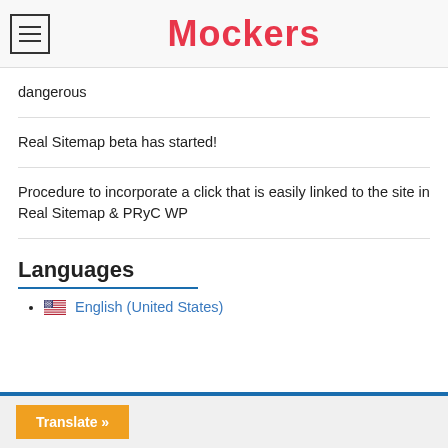Mockers
dangerous
Real Sitemap beta has started!
Procedure to incorporate a click that is easily linked to the site in Real Sitemap & PRyC WP
Languages
English (United States)
Translate »